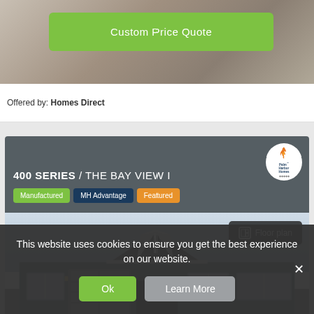[Figure (photo): Partial kitchen interior image at top of page]
Custom Price Quote
Offered by: Homes Direct
400 SERIES / THE BAY VIEW I
[Figure (logo): Palm Harbor Homes circular logo]
Manufactured
MH Advantage
Featured
[Figure (photo): Exterior photo of manufactured home with gray siding and gabled roof with Floor plan button overlay]
This website uses cookies to ensure you get the best experience on our website.
Ok
Learn More